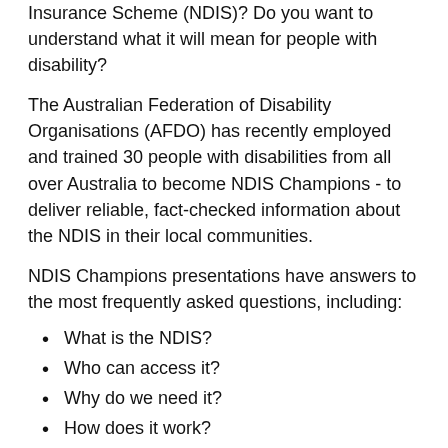Insurance Scheme (NDIS)? Do you want to understand what it will mean for people with disability?
The Australian Federation of Disability Organisations (AFDO) has recently employed and trained 30 people with disabilities from all over Australia to become NDIS Champions - to deliver reliable, fact-checked information about the NDIS in their local communities.
NDIS Champions presentations have answers to the most frequently asked questions, including:
What is the NDIS?
Who can access it?
Why do we need it?
How does it work?
What do I need to do?
NDIS Plans
And more
If you or your organisation or community want to know more